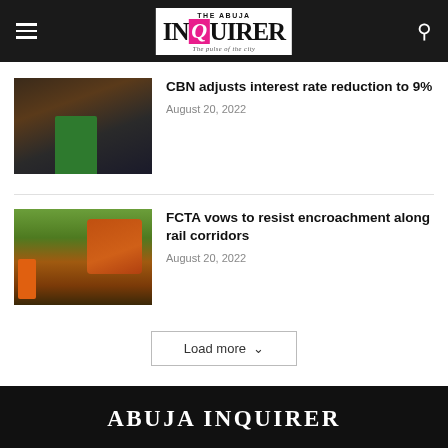The Abuja Inquirer — The pulse of the city
CBN adjusts interest rate reduction to 9%
August 20, 2022
FCTA vows to resist encroachment along rail corridors
August 20, 2022
ABUJA INQUIRER